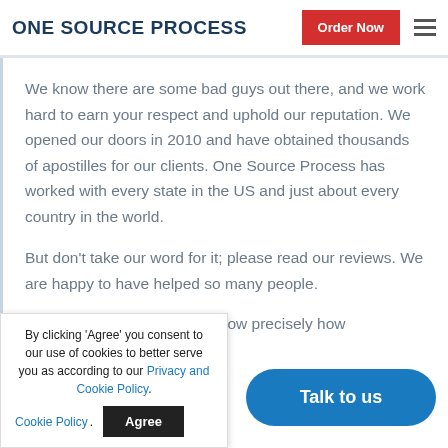ONE SOURCE PROCESS | Order Now
We know there are some bad guys out there, and we work hard to earn your respect and uphold our reputation. We opened our doors in 2010 and have obtained thousands of apostilles for our clients. One Source Process has worked with every state in the US and just about every country in the world.
But don't take our word for it; please read our reviews. We are happy to have helped so many people.
...ay until you know precisely how ...and the ti... ...stilled docu...
By clicking 'Agree' you consent to our use of cookies to better serve you as according to our Privacy and Cookie Policy.
Talk to us